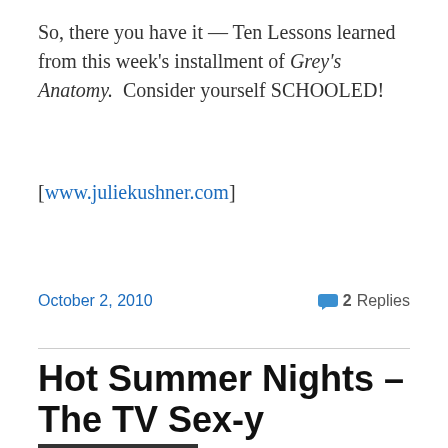So, there you have it — Ten Lessons learned from this week's installment of Grey's Anatomy. Consider yourself SCHOOLED!
[www.juliekushner.com]
October 2, 2010   2 Replies
Hot Summer Nights – The TV Sex-y Awards!